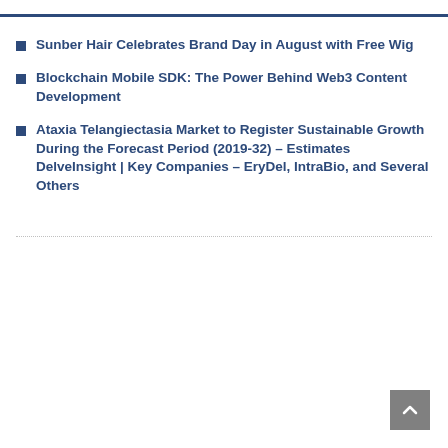Sunber Hair Celebrates Brand Day in August with Free Wig
Blockchain Mobile SDK: The Power Behind Web3 Content Development
Ataxia Telangiectasia Market to Register Sustainable Growth During the Forecast Period (2019-32) – Estimates DelveInsight | Key Companies – EryDel, IntraBio, and Several Others